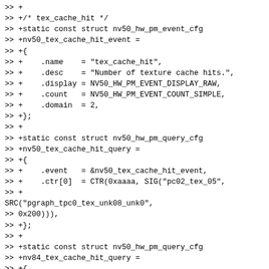>> +
>> +/* tex_cache_hit */
>> +static const struct nv50_hw_pm_event_cfg
>> +nv50_tex_cache_hit_event =
>> +{
>> +    .name    = "tex_cache_hit",
>> +    .desc    = "Number of texture cache hits.",
>> +    .display = NV50_HW_PM_EVENT_DISPLAY_RAW,
>> +    .count   = NV50_HW_PM_EVENT_COUNT_SIMPLE,
>> +    .domain  = 2,
>> +};
>> +
>> +static const struct nv50_hw_pm_query_cfg
>> +nv50_tex_cache_hit_query =
>> +{
>> +    .event   = &nv50_tex_cache_hit_event,
>> +    .ctr[0]  = CTR(0xaaaa, SIG("pc02_tex_05",
>> +
SRC("pgraph_tpc0_tex_unk08_unk0",
>> 0x200))),
>> +};
>> +
>> +static const struct nv50_hw_pm_query_cfg
>> +nv84_tex_cache_hit_query =
>> +{
>> +    .event   = &nv50_tex_cache_hit_event,
>> +    .ctr[0]  = CTR(0xaaaa, SIG("pc02_tex_05",
>> +
SRC("pgraph_tpc0_tex_unk08_unk0",
>> 0x800))),